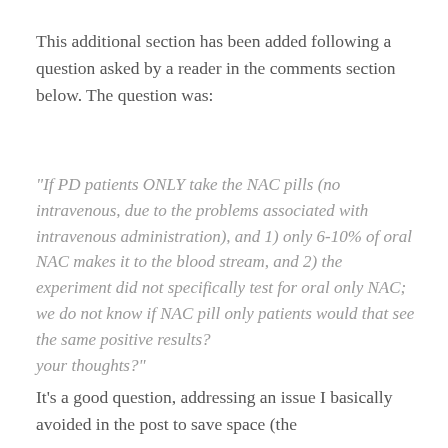This additional section has been added following a question asked by a reader in the comments section below. The question was:
"If PD patients ONLY take the NAC pills (no intravenous, due to the problems associated with intravenous administration), and 1) only 6-10% of oral NAC makes it to the blood stream, and 2) the experiment did not specifically test for oral only NAC;
we do not know if NAC pill only patients would that see the same positive results?
your thoughts?"
It's a good question, addressing an issue I basically avoided in the post to save space (the